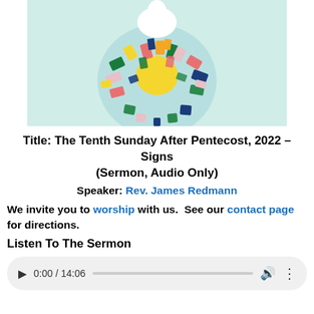[Figure (illustration): Colorful Pentecost artwork showing a dove/flame at the top and a circular mosaic of colorful shapes (green, red, navy, pink, yellow, blue) radiating outward on a light blue-green background]
Title: The Tenth Sunday After Pentecost, 2022 – Signs (Sermon, Audio Only)
Speaker: Rev. James Redmann
We invite you to worship with us.  See our contact page for directions.
Listen To The Sermon
[Figure (other): Audio player showing 0:00 / 14:06 with play button, progress bar, volume icon, and more-options icon]